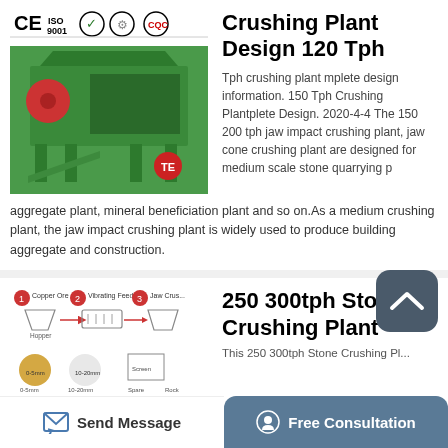[Figure (logo): CE ISO 9001 certification logos and quality marks]
[Figure (photo): Green industrial crushing plant machine with red disc and metal frame structure]
Crushing Plant Design 120 Tph
Tph crushing plant mplete design information. 150 Tph Crushing Plantplete Design. 2020-4-4 The 150 200 tph jaw impact crushing plant, jaw cone crushing plant are designed for medium scale stone quarrying p aggregate plant, mineral beneficiation plant and so on.As a medium crushing plant, the jaw impact crushing plant is widely used to produce building aggregate and construction.
[Figure (schematic): Flow diagram showing stone crushing plant process: Copper Ore -> Hopper -> Vibrating Feeder -> Jaw Crusher -> to product stages]
250 300tph Stone Crushing Plant
This 250 300tph Stone Crushing Pl...
Send Message    Free Consultation